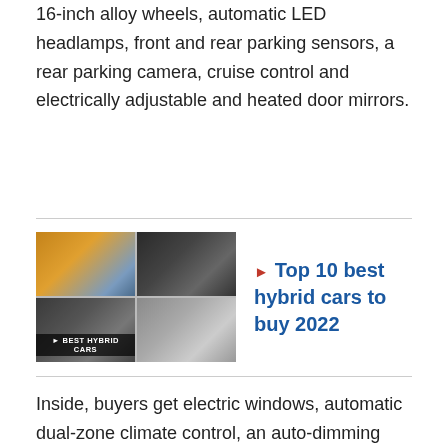16-inch alloy wheels, automatic LED headlamps, front and rear parking sensors, a rear parking camera, cruise control and electrically adjustable and heated door mirrors.
[Figure (photo): Grid of four car images labeled 'Best Hybrid Cars']
▶ Top 10 best hybrid cars to buy 2022
Inside, buyers get electric windows, automatic dual-zone climate control, an auto-dimming rear-view mirror and a seven-inch touchscreen infotainment system with Apple CarPlay and Android Auto. There's also a comprehensive